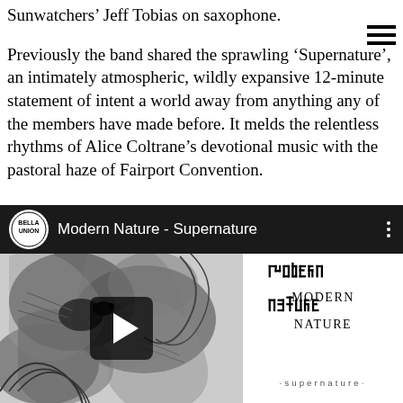Sunwatchers' Jeff Tobias on saxophone.
Previously the band shared the sprawling ‘Supernature’, an intimately atmospheric, wildly expansive 12-minute statement of intent a world away from anything any of the members have made before. It melds the relentless rhythms of Alice Coltrane’s devotional music with the pastoral haze of Fairport Convention.
[Figure (screenshot): YouTube video embed showing 'Modern Nature - Supernature' with Bella Union logo, thumbnail of abstract black and white illustration, play button overlay, and Modern Nature 'supernature' album artwork on the right]